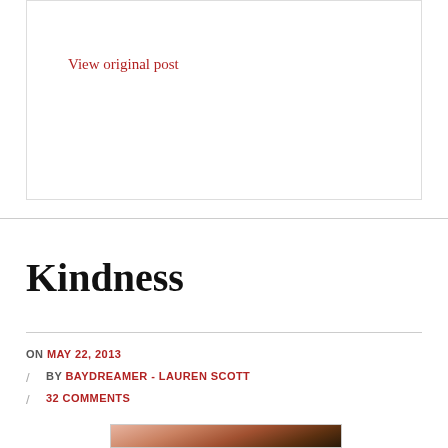View original post
Kindness
ON MAY 22, 2013 / BY BAYDREAMER - LAUREN SCOTT / 32 COMMENTS
[Figure (photo): Close-up photo, partially visible at bottom of page, showing warm brown and peach tones]